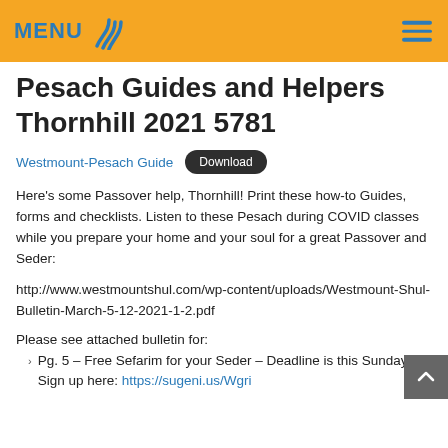MENU
Pesach Guides and Helpers Thornhill 2021 5781
Westmount-Pesach Guide   Download
Here's some Passover help, Thornhill! Print these how-to Guides, forms and checklists. Listen to these Pesach during COVID classes while you prepare your home and your soul for a great Passover and Seder:
http://www.westmountshul.com/wp-content/uploads/Westmount-Shul-Bulletin-March-5-12-2021-1-2.pdf
Please see attached bulletin for:
Pg. 5 – Free Sefarim for your Seder – Deadline is this Sunday. Sign up here: https://sugeni.us/Wgri